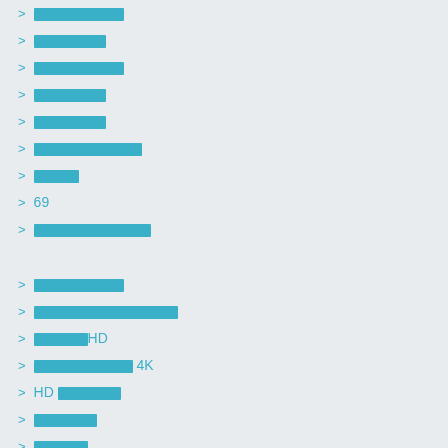██████████
████████
██████████
████████
████████
████████████
█████
69
█████████████
██████████
████████████████
██████HD
████████████ 4K
HD ████████
███████
██████
████████